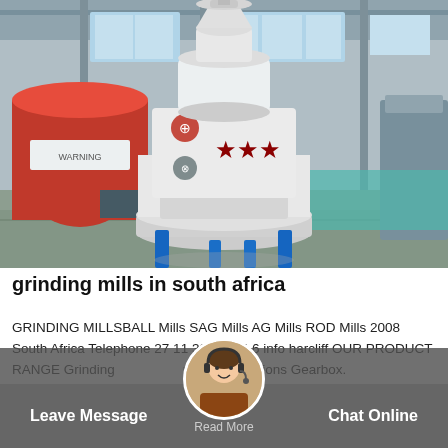[Figure (photo): Industrial grinding mill machine (Raymond mill) in a factory/warehouse setting. The machine is tall, cream/white colored with red star markings and warning symbols, sitting on blue supports on a concrete floor. A large ball mill tank is visible on the left.]
grinding mills in south africa
GRINDING MILLSBALL Mills SAG Mills AG Mills ROD Mills 2008 South Africa Telephone 27 11 392 1714 6 info harcliff OUR PRODUCT RANGE Grinding … rth Gears Pinions Gearbox.